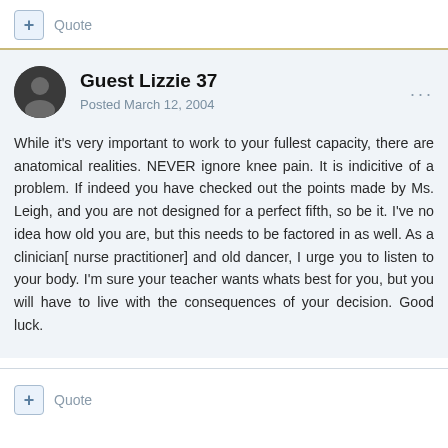Quote
Guest Lizzie 37
Posted March 12, 2004
While it's very important to work to your fullest capacity, there are anatomical realities. NEVER ignore knee pain. It is indicitive of a problem. If indeed you have checked out the points made by Ms. Leigh, and you are not designed for a perfect fifth, so be it. I've no idea how old you are, but this needs to be factored in as well. As a clinician[ nurse practitioner] and old dancer, I urge you to listen to your body. I'm sure your teacher wants whats best for you, but you will have to live with the consequences of your decision. Good luck.
Quote